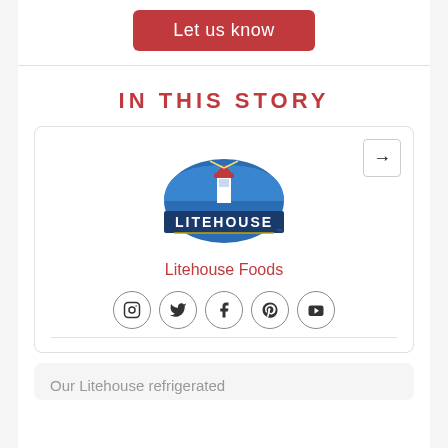[Figure (logo): Red rounded rectangle button labeled 'Let us know']
IN THIS STORY
[Figure (logo): Litehouse Foods logo — blue semicircle with lighthouse graphic and 'LITEHOUSE' text in white on navy band]
Litehouse Foods
[Figure (infographic): Social media icons: Instagram, Twitter, Facebook, Pinterest, YouTube]
Our Litehouse refrigerated